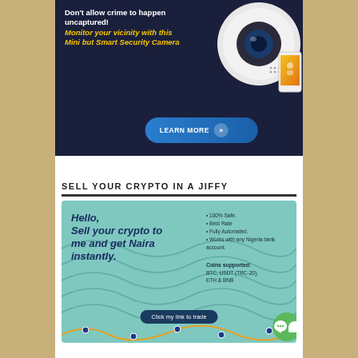[Figure (infographic): Dark navy blue advertisement for a Mini Smart Security Camera. White bold text reads 'Don't allow crime to happen uncaptured!' followed by yellow italic bold text 'Monitor your vicinity with this Mini but Smart Security Camera'. Image of white circular security camera device and a smartphone on the right. Blue 'LEARN MORE' button with double arrow at bottom center.]
SELL YOUR CRYPTO IN A JIFFY
[Figure (infographic): Teal/turquoise advertisement. Left side: bold dark blue italic text 'Hello, Sell your crypto to me and get Naira instantly.' Right side bullet points: 100% Safe, Best Rate, Fully Automated, Works with any Nigeria bank account. Coins supported: BTC, USDT (TRC-20), ETH & BNB. Dark blue oval button 'Click my link to trade'. Wave/network graphic at bottom. Green chat bubble icon at bottom right.]